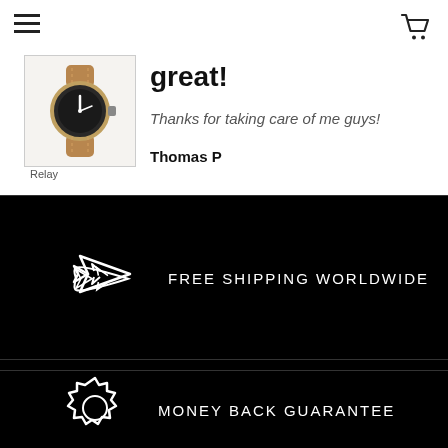[Figure (illustration): Hamburger menu icon (three horizontal lines) in top left corner]
[Figure (illustration): Shopping cart icon in top right corner]
[Figure (photo): Product image of a watch with brown leather strap and dark dial, thumbnail size]
Relay
great!
Thanks for taking care of me guys!
Thomas P
FREE SHIPPING WORLDWIDE
EASY RETURNS
MONEY BACK GUARANTEE